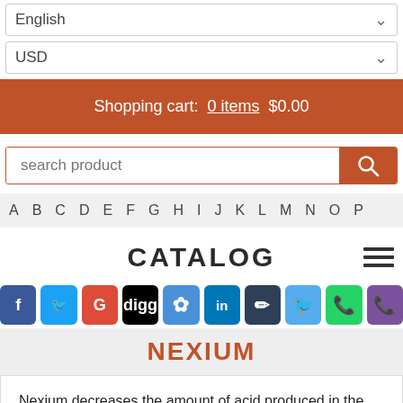English
USD
Shopping cart:  0 items  $0.00
search product
A  B  C  D  E  F  G  H  I  J  K  L  M  N  O  P  …
CATALOG
[Figure (other): Social media share icons: Facebook, Twitter, Google+, Digg, Delicious, LinkedIn, Scribd, Twitter, WhatsApp, Viber]
NEXIUM
Nexium decreases the amount of acid produced in the stomach. It is used to treat symptoms of gastroesophageal reflux disease